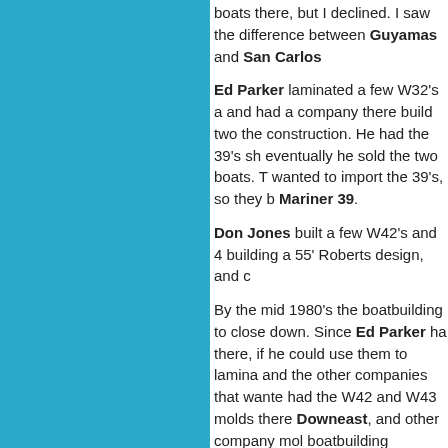[Figure (other): Solid teal/blue rectangular panel on the left side of the page]
boats there, but I declined. I saw the difference between Guyamas and San Carlos
Ed Parker laminated a few W32's and had a company there build two the construction. He had the 39's sh eventually he sold the two boats. T wanted to import the 39's, so they b Mariner 39.
Don Jones built a few W42's and 4 building a 55' Roberts design, and c
By the mid 1980's the boatbuilding to close down. Since Ed Parker ha there, if he could use them to lamina and the other companies that wante had the W42 and W43 molds there Downeast, and other company mol boatbuilding company in 1988.
When Ed decided to sell his propert molds, or he would give them away Francisco Bay area took the W32 m possibly in Petaluma. Another pers my knowledge, he never did build a